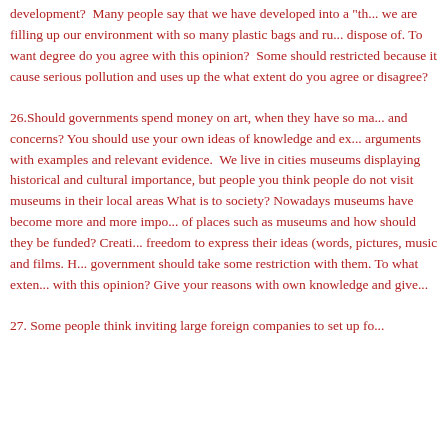development? Many people say that we have developed into a "th... we are filling up our environment with so many plastic bags and ru... dispose of. To want degree do you agree with this opinion? Some should restricted because it cause serious pollution and uses up the what extent do you agree or disagree?
26.Should governments spend money on art, when they have so ma... and concerns? You should use your own ideas of knowledge and ex... arguments with examples and relevant evidence. We live in cities museums displaying historical and cultural importance, but people you think people do not visit museums in their local areas What is to society? Nowadays museums have become more and more impo... of places such as museums and how should they be funded? Creati... freedom to express their ideas (words, pictures, music and films. H... government should take some restriction with them. To what exten... with this opinion? Give your reasons with own knowledge and give...
27. Some people think inviting large foreign companies to set up fo...